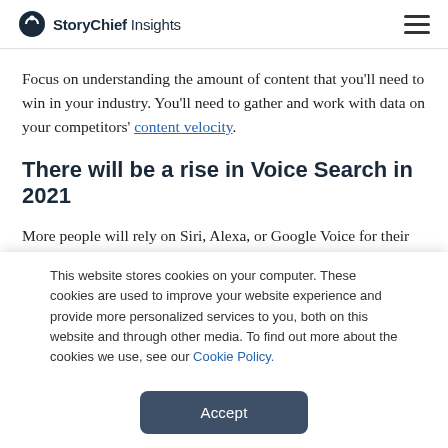StoryChief Insights
Focus on understanding the amount of content that you'll need to win in your industry. You'll need to gather and work with data on your competitors' content velocity.
There will be a rise in Voice Search in 2021
More people will rely on Siri, Alexa, or Google Voice for their search. To tap into this trend, you need to start building and optimizing your content and SEO strategies for voice search
This website stores cookies on your computer. These cookies are used to improve your website experience and provide more personalized services to you, both on this website and through other media. To find out more about the cookies we use, see our Cookie Policy.
Accept